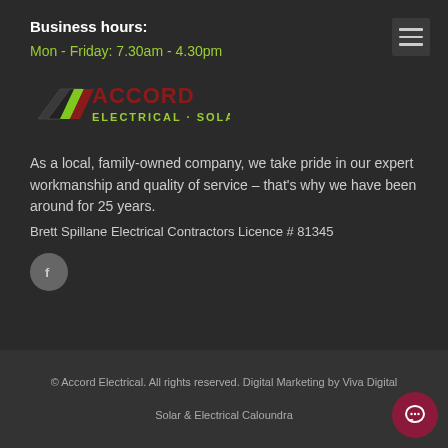Business hours:
Mon - Friday: 7.30am - 4.30pm
[Figure (logo): Accord Electrical Solar company logo with diagonal stripe graphic and text]
As a local, family-owned company, we take pride in our expert workmanship and quality of service – that's why we have been around for 25 years.
Brett Spillane Electrical Contractors Licence # 81345
[Figure (illustration): Facebook icon button, circular grey background with white f letter]
© Accord Electrical. All rights reserved. Digital Marketing by Viva Digital
Solar & Electrical Caloundra